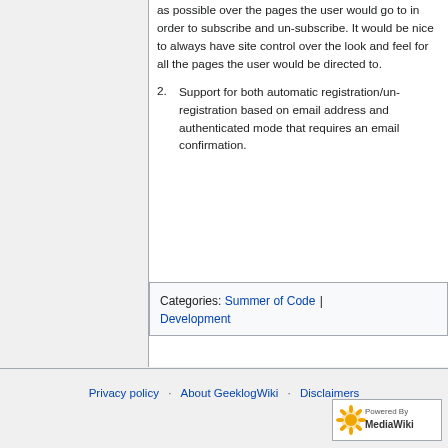as possible over the pages the user would go to in order to subscribe and un-subscribe. It would be nice to always have site control over the look and feel for all the pages the user would be directed to.
2. Support for both automatic registration/un-registration based on email address and authenticated mode that requires an email confirmation.
Categories:  Summer of Code | Development
Privacy policy   About GeeklogWiki   Disclaimers